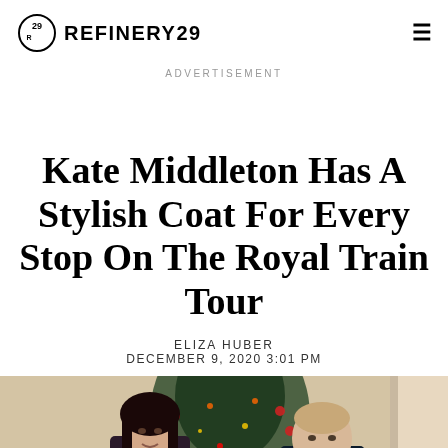REFINERY29
ADVERTISEMENT
Kate Middleton Has A Stylish Coat For Every Stop On The Royal Train Tour
ELIZA HUBER
DECEMBER 9, 2020 3:01 PM
[Figure (photo): Photo of Kate Middleton and Prince William in front of a Christmas tree]